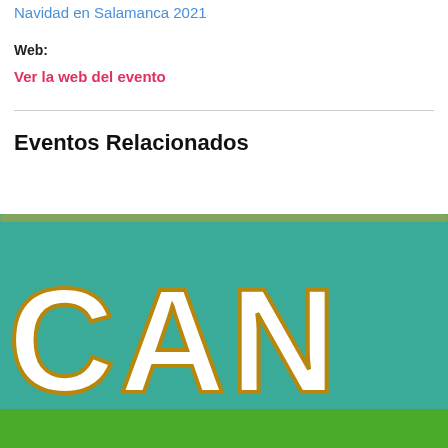Navidad en Salamanca 2021
Web:
Ver la web del evento
Eventos Relacionados
[Figure (photo): Partial image of a poster with teal/green background and large decorative letters spelling 'CAN...' with gold outline, with a cookie consent overlay dialog on top.]
Este sitio web utiliza cookies para mejorar tu experiencia. Al consentir aceptas las cookies. ¿Quieres más información? Consulta nuestra política de cookies.
Ajustes de Cookies
ACCEPTO